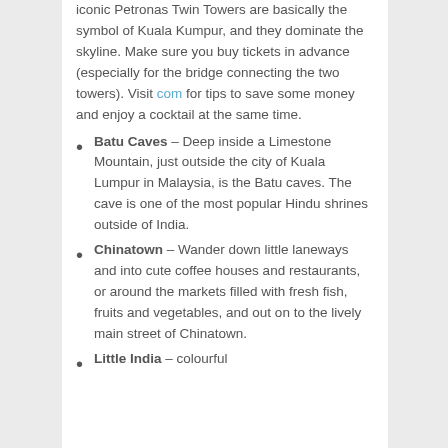iconic Petronas Twin Towers are basically the symbol of Kuala Kumpur, and they dominate the skyline. Make sure you buy tickets in advance (especially for the bridge connecting the two towers). Visit com for tips to save some money and enjoy a cocktail at the same time.
Batu Caves – Deep inside a Limestone Mountain, just outside the city of Kuala Lumpur in Malaysia, is the Batu caves. The cave is one of the most popular Hindu shrines outside of India.
Chinatown – Wander down little laneways and into cute coffee houses and restaurants, or around the markets filled with fresh fish, fruits and vegetables, and out on to the lively main street of Chinatown.
Little India – colourful